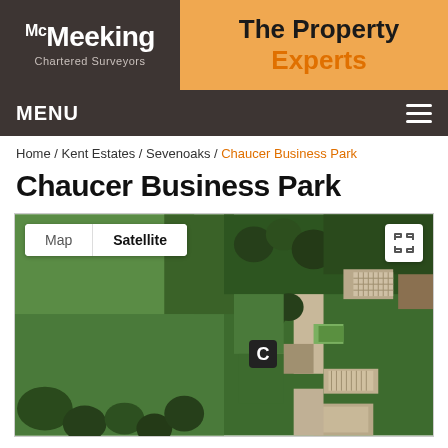[Figure (logo): McMeeking Chartered Surveyors logo with dark brown background and white text]
The Property Experts
MENU
Home / Kent Estates / Sevenoaks / Chaucer Business Park
Chaucer Business Park
[Figure (map): Google Maps satellite view of Chaucer Business Park showing aerial imagery of business park buildings surrounded by green fields and trees. Map/Satellite toggle visible at top left. Fullscreen button at top right. A 'C' marker indicates the business park location.]